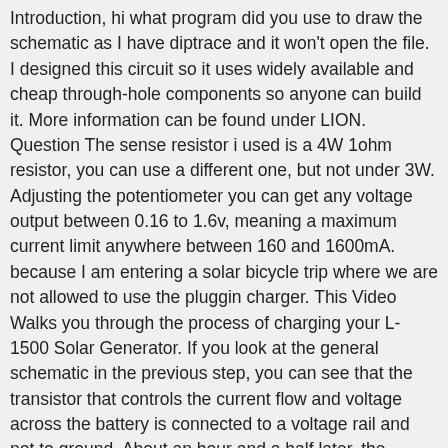Introduction, hi what program did you use to draw the schematic as I have diptrace and it won't open the file. I designed this circuit so it uses widely available and cheap through-hole components so anyone can build it. More information can be found under LION. Question The sense resistor i used is a 4W 1ohm resistor, you can use a different one, but not under 3W. Adjusting the potentiometer you can get any voltage output between 0.16 to 1.6v, meaning a maximum current limit anywhere between 160 and 1600mA. because I am entering a solar bicycle trip where we are not allowed to use the pluggin charger. This Video Walks you through the process of charging your L-1500 Solar Generator. If you look at the general schematic in the previous step, you can see that the transistor that controls the current flow and voltage across the battery is connected to a voltage rail and not to ground. About an hour and a half later, the battery had a voltage of 4.09v, it was about to enter in the constant voltage stage. In this video, I do an experimental test by charging my Lion Energy UT1300 batteries using my regular OEM lead-acid converter charger and my